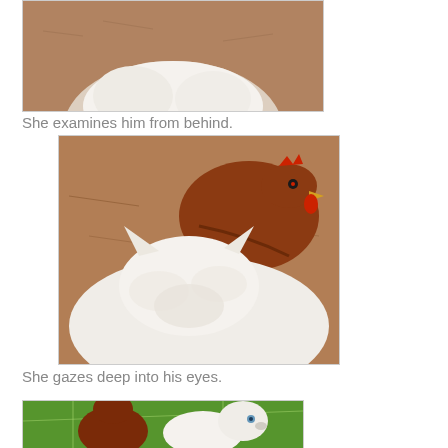[Figure (photo): Top portion of a photo showing a white fluffy dog lying on dirt/mulch ground, cropped at top]
She examines him from behind.
[Figure (photo): A white fluffy dog lying on dirt ground with a brown/red hen (chicken) standing on top of or near the dog's back, viewed from above]
She gazes deep into his eyes.
[Figure (photo): A brown chicken and a white fluffy dog sitting side by side on green grass, facing each other in profile view]